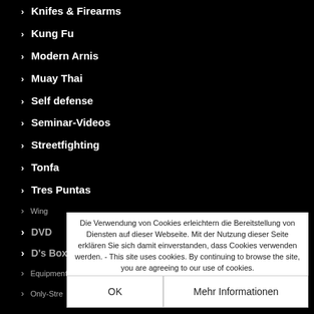Knifes & Firearms
Kung Fu
Modern Arnis
Muay Thai
Self defense
Seminar-Videos
Streetfighting
Tonfa
Tres Puntas
Wing
DVD
D's Box TV
Equipment
Only-Stre
Die Verwendung von Cookies erleichtern die Bereitstellung von Diensten auf dieser Webseite. Mit der Nutzung dieser Seite erklären Sie sich damit einverstanden, dass Cookies verwenden werden. - This site uses cookies. By continuing to browse the site, you are agreeing to our use of cookies.
OK
Mehr Informationen